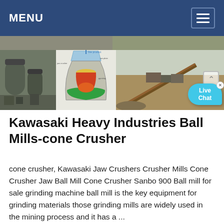MENU
[Figure (photo): Three-panel image strip showing industrial mining/grinding equipment: left panel shows industrial ball mill equipment with large cylindrical machinery, center panel shows a cross-section diagram of a cone crusher with colorful internal components, right panel shows an open-pit quarry with conveyor belt and stockpile of aggregate material. A Live Chat bubble appears in the bottom-right corner.]
Kawasaki Heavy Industries Ball Mills-cone Crusher
cone crusher, Kawasaki Jaw Crushers Crusher Mills Cone Crusher Jaw Ball Mill Cone Crusher Sanbo 900 Ball mill for sale grinding machine ball mill is the key equipment for grinding materials those grinding mills are widely used in the mining process and it has a ...